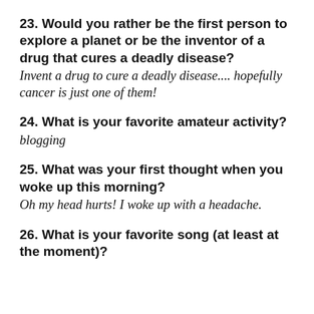23. Would you rather be the first person to explore a planet or be the inventor of a drug that cures a deadly disease?
Invent a drug to cure a deadly disease.... hopefully cancer is just one of them!
24. What is your favorite amateur activity?
blogging
25. What was your first thought when you woke up this morning?
Oh my head hurts! I woke up with a headache.
26. What is your favorite song (at least at the moment)?